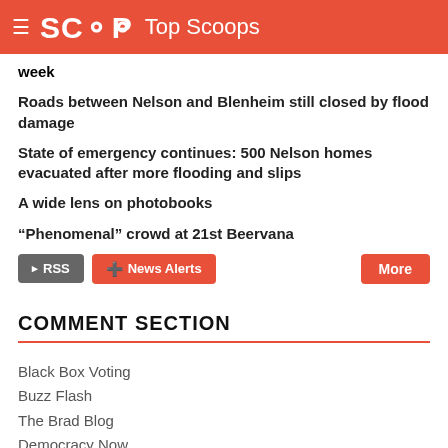SCOOP Top Scoops
week
Roads between Nelson and Blenheim still closed by flood damage
State of emergency continues: 500 Nelson homes evacuated after more flooding and slips
A wide lens on photobooks
“Phenomenal” crowd at 21st Beervana
COMMENT SECTION
Black Box Voting
Buzz Flash
The Brad Blog
Democracy Now
Else Woman